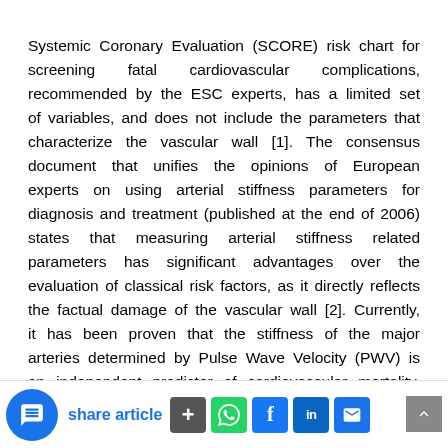Systemic Coronary Evaluation (SCORE) risk chart for screening fatal cardiovascular complications, recommended by the ESC experts, has a limited set of variables, and does not include the parameters that characterize the vascular wall [1]. The consensus document that unifies the opinions of European experts on using arterial stiffness parameters for diagnosis and treatment (published at the end of 2006) states that measuring arterial stiffness related parameters has significant advantages over the evaluation of classical risk factors, as it directly reflects the factual damage of the vascular wall [2]. Currently, it has been proven that the stiffness of the major arteries determined by Pulse Wave Velocity (PWV) is an independent predictor of cardiovascular mortality, fatal and nonfatal coronary ev… in patients with arterial hypertension or Type 2 …
share article